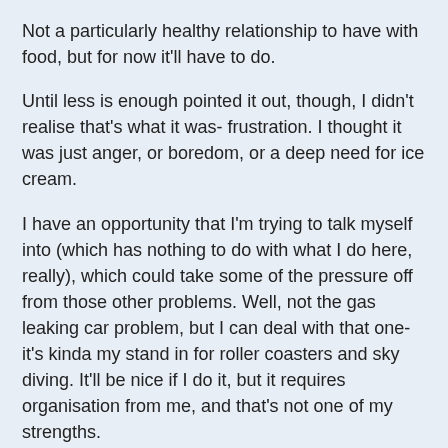Not a particularly healthy relationship to have with food, but for now it'll have to do.
Until less is enough pointed it out, though, I didn't realise that's what it was- frustration. I thought it was just anger, or boredom, or a deep need for ice cream.
I have an opportunity that I'm trying to talk myself into (which has nothing to do with what I do here, really), which could take some of the pressure off from those other problems. Well, not the gas leaking car problem, but I can deal with that one- it's kinda my stand in for roller coasters and sky diving. It'll be nice if I do it, but it requires organisation from me, and that's not one of my strengths.
Otherwise, August 14th starts the second half of the year- give or take a day. I'm going to try and scrounge a pile of cash and take a couple days off from the food budget before then- not saying it will happen, just that if I can find the cash, I want a food vacation. I'm not quitting- I've no interest right now in food stamps, and the only way my cash